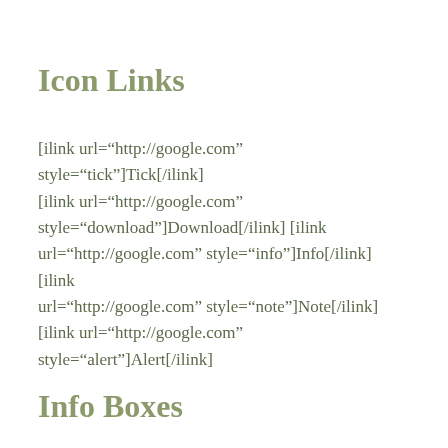Icon Links
[ilink url="http://google.com" style="tick"]Tick[/ilink] [ilink url="http://google.com" style="download"]Download[/ilink] [ilink url="http://google.com" style="info"]Info[/ilink] [ilink url="http://google.com" style="note"]Note[/ilink] [ilink url="http://google.com" style="alert"]Alert[/ilink]
Info Boxes